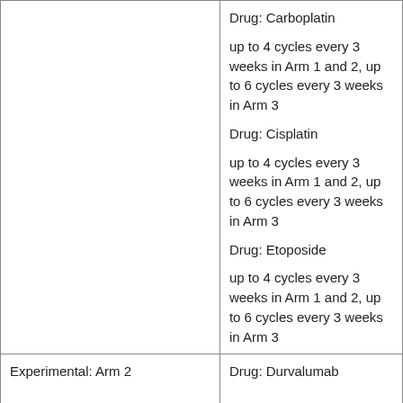|  | Drug: Carboplatin
up to 4 cycles every 3 weeks in Arm 1 and 2, up to 6 cycles every 3 weeks in Arm 3

Drug: Cisplatin
up to 4 cycles every 3 weeks in Arm 1 and 2, up to 6 cycles every 3 weeks in Arm 3

Drug: Etoposide
up to 4 cycles every 3 weeks in Arm 1 and 2, up to 6 cycles every 3 weeks in Arm 3 |
| Experimental: Arm 2 | Drug: Durvalumab |